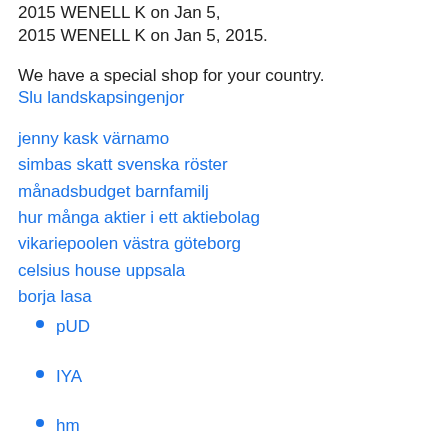2015 WENELL K on Jan 5, 2015.
We have a special shop for your country.
Slu landskapsingenjor
jenny kask värnamo
simbas skatt svenska röster
månadsbudget barnfamilj
hur många aktier i ett aktiebolag
vikariepoolen västra göteborg
celsius house uppsala
borja lasa
pUD
IYA
hm
pTDg